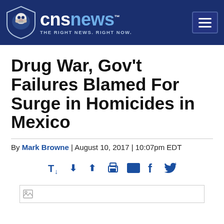CNSNews - THE RIGHT NEWS. RIGHT NOW.
Drug War, Gov't Failures Blamed For Surge in Homicides in Mexico
By Mark Browne | August 10, 2017 | 10:07pm EDT
[Figure (other): Article toolbar with text size, print, email, Facebook, and Twitter icons]
[Figure (photo): Image placeholder (broken image icon) spanning article width]